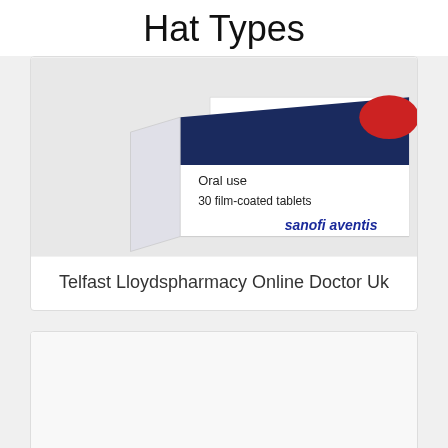Hat Types
[Figure (photo): Photo of a Sanofi Aventis drug box showing 'Oral use' and '30 film-coated tablets' text]
Telfast Lloydspharmacy Online Doctor Uk
[Figure (photo): Blank/white placeholder image area]
Fexofenadine Tablets Buy Fexofenadine To Combat Hay Fever Today